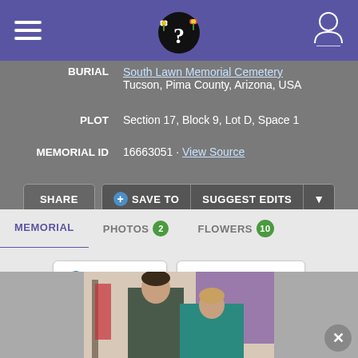Find a Grave (header navigation bar)
BURIAL South Lawn Memorial Cemetery Tucson, Pima County, Arizona, USA
PLOT Section 17, Block 9, Lot D, Space 1
MEMORIAL ID 16663051 · View Source
SHARE | + SAVE TO | SUGGEST EDITS
MEMORIAL   PHOTOS 2   FLOWERS 10
+ Add Photos   📷 Request Photo
[Figure (photo): A vintage photograph showing a man in military uniform standing next to a woman in a teal/blue jacket, partially visible at the bottom of the page.]